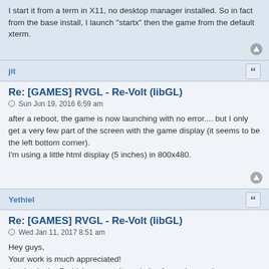I start it from a term in X11, no desktop manager installed. So in fact from the base install, I launch "startx" then the game from the default xterm.
jit
Re: [GAMES] RVGL - Re-Volt (libGL)
Sun Jun 19, 2016 6:59 am
after a reboot, the game is now launching with no error.... but I only get a very few part of the screen with the game display (it seems to be the left bottom corner).
I'm using a little html display (5 inches) in 800x480.
Yethiel
Re: [GAMES] RVGL - Re-Volt (libGL)
Wed Jan 11, 2017 8:51 am
Hey guys,
Your work is much appreciated!
I maintain the Re-Volt community website, formerly re-volt.me.
We've moved and we're rebuilding the site which is now available at